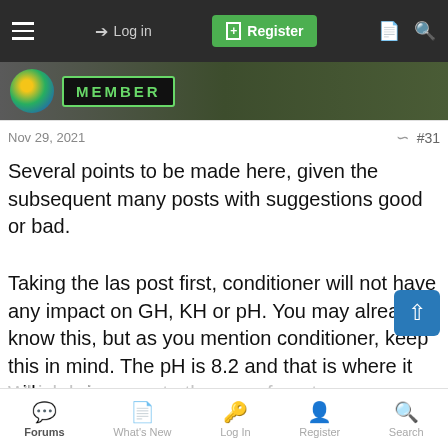Log in | Register
[Figure (screenshot): Member badge with colorful circular icon and green outlined MEMBER text on dark background]
Nov 29, 2021   #31
Several points to be made here, given the subsequent many posts with suggestions good or bad.
Taking the las post first, conditioner will not have any impact on GH, KH or pH. You may already know this, but as you mention conditioner, keep this in mind. The pH is 8.2 and that is where it will remain.
Which brings me to the use of peat, leaves, wood, and other
Forums  What's New  Log In  Register  Search